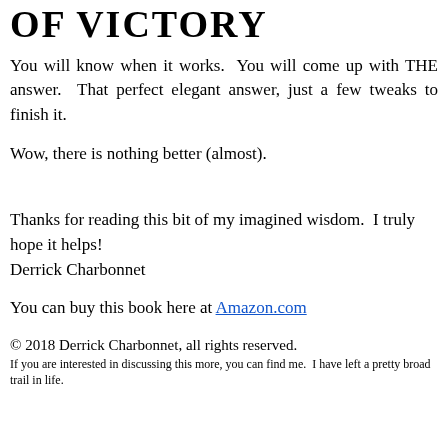OF VICTORY
You will know when it works.  You will come up with THE answer.  That perfect elegant answer, just a few tweaks to finish it.
Wow, there is nothing better (almost).
Thanks for reading this bit of my imagined wisdom.  I truly hope it helps!
Derrick Charbonnet
You can buy this book here at Amazon.com
© 2018 Derrick Charbonnet, all rights reserved.
If you are interested in discussing this more, you can find me.  I have left a pretty broad trail in life.